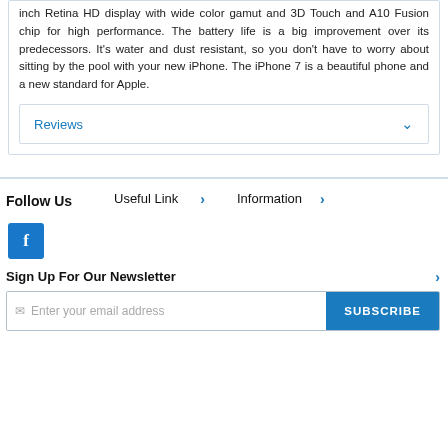inch Retina HD display with wide color gamut and 3D Touch and A10 Fusion chip for high performance. The battery life is a big improvement over its predecessors. It's water and dust resistant, so you don't have to worry about sitting by the pool with your new iPhone. The iPhone 7 is a beautiful phone and a new standard for Apple.
Reviews
Follow Us
Useful Link
Information
[Figure (logo): Facebook icon button, blue square with white f letter]
Sign Up For Our Newsletter
Enter your email address
SUBSCRIBE